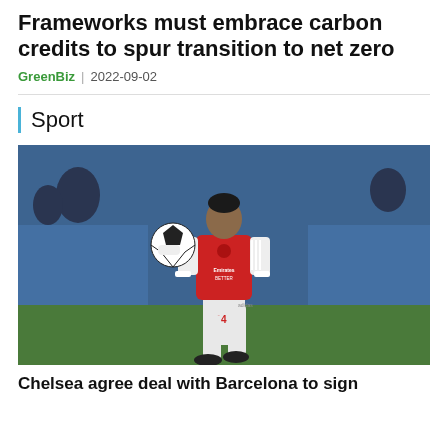Frameworks must embrace carbon credits to spur transition to net zero
GreenBiz | 2022-09-02
Sport
[Figure (photo): Arsenal footballer wearing number 14 jersey (Emirates/BETTER sponsor) controlling a football, playing in a stadium with blue seats in background]
Chelsea agree deal with Barcelona to sign